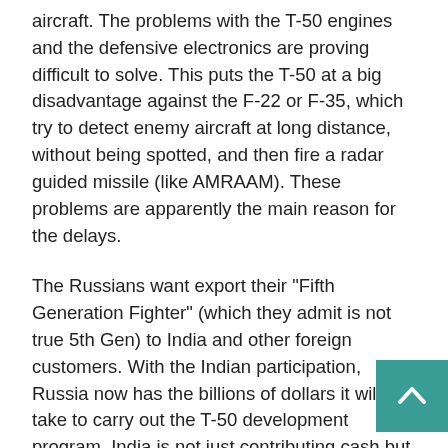aircraft. The problems with the T-50 engines and the defensive electronics are proving difficult to solve. This puts the T-50 at a big disadvantage against the F-22 or F-35, which try to detect enemy aircraft at long distance, without being spotted, and then fire a radar guided missile (like AMRAAM). These problems are apparently the main reason for the delays.
The Russians want export their "Fifth Generation Fighter" (which they admit is not true 5th Gen) to India and other foreign customers. With the Indian participation, Russia now has the billions of dollars it will take to carry out the T-50 development program. India is not just contributing cash but also technology and manufacturing capability. China is unlikely to be a customer because they have two “stealth fighter” designs in development and flying. India is too heavily invested to easily withdraw from